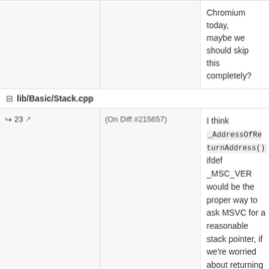Chromium today, maybe we should skip this completely?
lib/Basic/Stack.cpp
23 ↗ (On Diff #215657) I think _AddressOfReturnAddress() ifdef _MSC_VER would be the proper way to ask MSVC for a reasonable stack pointer, if we're worried about returning the address of a local.
53–54 ↗ (On Diff #215657) So, for example, ASan with UAR, where frames are heap allocated. I suppose in that case we will go down the